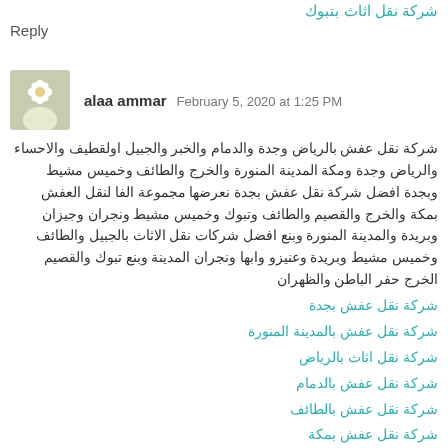شركة نقل اثاث بتبوك
Reply
alaa ammar  February 5, 2020 at 1:25 PM
شركة نقل عفش بالرياض وجدة والدمام والخبر والجبيل اولقطيف والاحساء والرياض وجدة ومكة المدينة المنورة والخرج والطائف وخميس مشيط وبجدة افضل شركة نقل عفش بجدة نعرضها مجموعة الفا لنقل العفش بمكة والخرج والقصيم والطائف وتبوك وخميس مشيط ونجران وجيزان وبريدة والمدينة المنورة وبنع افضل شركات نقل الاثاث بالجبيل والطائف وخميس مشيط وبريدة وعنيزو وابها ونجران المدينة وبنع تبوك والقصيم الخرج حفر الباطن والظهران
شركة نقل عفش بجدة
شركة نقل عفش بالمدينة المنورة
شركة نقل اثاث بالرياض
شركة نقل عفش بالدمام
شركة نقل عفش بالطائف
شركة نقل عفش بمكة
شركة نقل عفش بينع
Reply